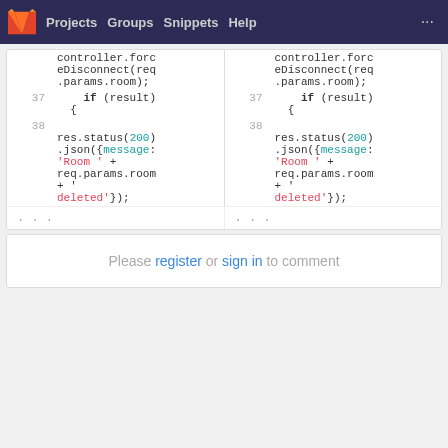Projects  Groups  Snippets  Help
[Figure (screenshot): GitLab diff view showing two side-by-side code panels with line numbers 37 and 38, displaying JavaScript code including controller.forceDisconnect(req.params.room), if (result) {, res.status(200).json({message: 'Room ' + req.params.room + ' deleted'});]
Please register or sign in to comment